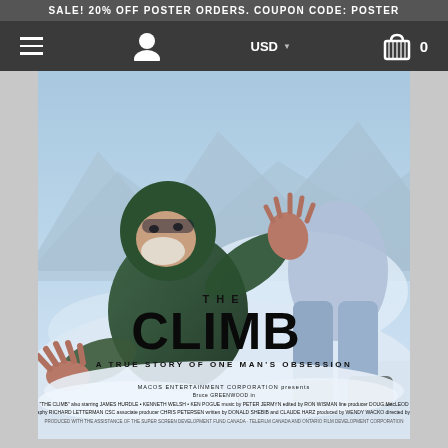SALE! 20% OFF POSTER ORDERS. COUPON CODE: POSTER
[Figure (screenshot): E-commerce website navigation bar with hamburger menu, user icon, USD currency selector, and shopping cart showing 0 items, on dark grey background]
[Figure (photo): Movie poster for 'The Climb' - a vintage illustrated movie poster showing a bearded man in green winter gear reaching forward through snow on a mountain. Title reads 'THE CLIMB' in large black letters with tagline 'A TRUE STORY OF ONE MAN'S OBSESSION'. Credits include Bruce Greenwood, James Hurdle, Kenneth Welsh, Ken Pogue, directed by Donald Shebib, produced by Wendy Wacko.]